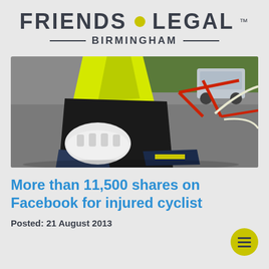FRIENDS • LEGAL™ BIRMINGHAM
[Figure (photo): A fallen cyclist on the road, wearing black cycling gear and a yellow hi-vis jacket, with a white bicycle helmet on the ground and a bicycle frame visible, suggesting a road accident.]
More than 11,500 shares on Facebook for injured cyclist
Posted: 21 August 2013